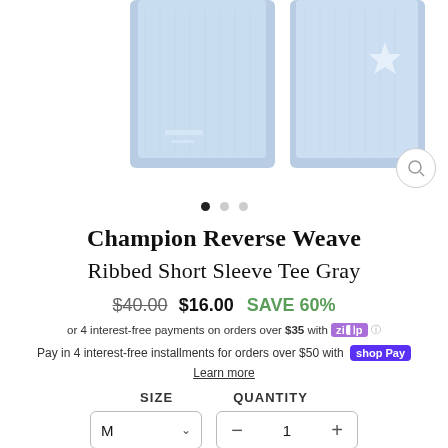[Figure (photo): Two light blue distressed jeans shown from the lower leg down, with visible distressing/rips at the knee and hem area. Shown against white background.]
Champion Reverse Weave
Ribbed Short Sleeve Tee Gray
$40.00  $16.00  SAVE 60%
or 4 interest-free payments on orders over $35 with ZIP ⓘ
Pay in 4 interest-free installments for orders over $50 with shop Pay
Learn more
SIZE   QUANTITY
M ∨   − 1 +